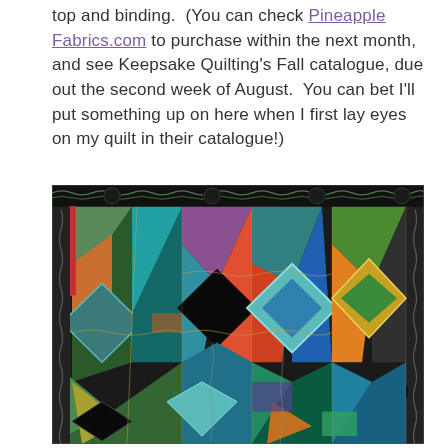top and binding.  (You can check Pineapple Fabrics.com to purchase within the next month, and see Keepsake Quilting's Fall catalogue, due out the second week of August.  You can bet I'll put something up on here when I first lay eyes on my quilt in their catalogue!)
[Figure (photo): A colorful geometric patchwork quilt with bold angular patterns in teal, green, black, orange, red, blue, and multicolor fabrics, featuring diamond and zigzag designs with decorative quilting stitches.]